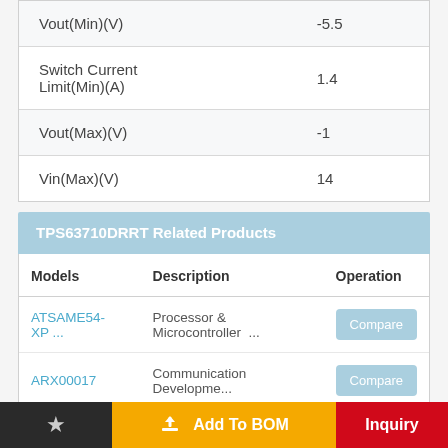| Property | Value |
| --- | --- |
| Vout(Min)(V) | -5.5 |
| Switch Current Limit(Min)(A) | 1.4 |
| Vout(Max)(V) | -1 |
| Vin(Max)(V) | 14 |
TPS63710DRRT Related Products
| Models | Description | Operation |
| --- | --- | --- |
| ATSAME54-XP... | Processor & Microcontroller ... | Compare |
| ARX00017 | Communication Developme... | Compare |
★  Add To BOM  Inquiry